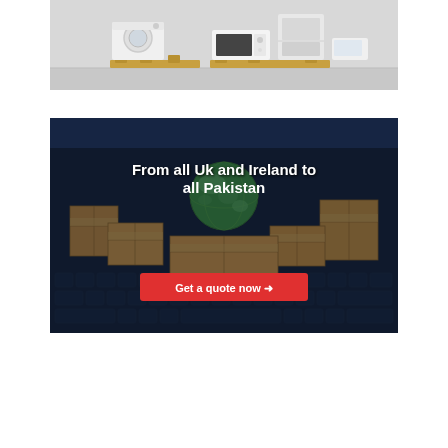[Figure (photo): Photo of home appliances (washing machine, microwave, oven/refrigerator) stacked on wooden pallets in a warehouse-style setting with grey background]
[Figure (photo): Dark banner photo showing cardboard shipping boxes and a globe on a laptop keyboard background, with white bold text 'From all Uk and Ireland to all Pakistan' and a red 'Get a quote now' call-to-action button with arrow]